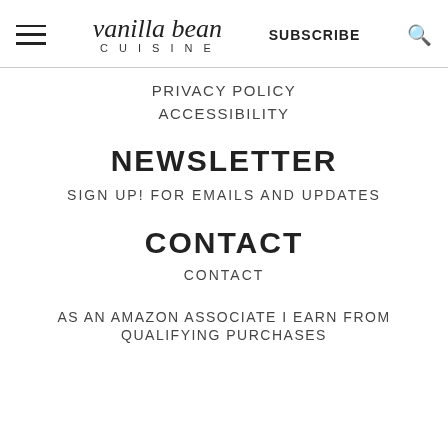vanilla bean CUISINE | SUBSCRIBE
PRIVACY POLICY
ACCESSIBILITY
NEWSLETTER
SIGN UP! FOR EMAILS AND UPDATES
CONTACT
CONTACT
AS AN AMAZON ASSOCIATE I EARN FROM QUALIFYING PURCHASES